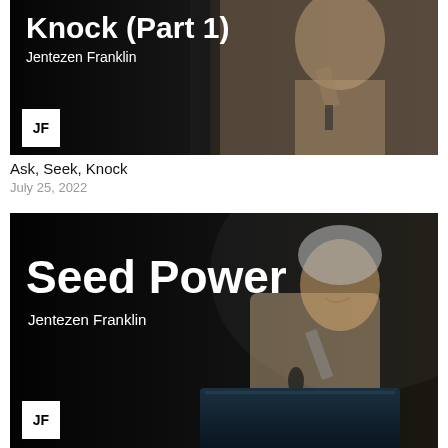[Figure (photo): Sermon thumbnail showing a man in a beige sweater holding a microphone on a dark stage, with text overlay 'Knock (Part 1)' and 'Jentezen Franklin', and a JF logo badge in the lower left.]
Ask, Seek, Knock
July 25, 2022
[Figure (photo): Sermon thumbnail showing Jentezen Franklin in a beige sweater speaking at a podium with a microphone, on a dark stage, with text overlay 'Seed Power' and 'Jentezen Franklin', and a JF logo badge in the lower left.]